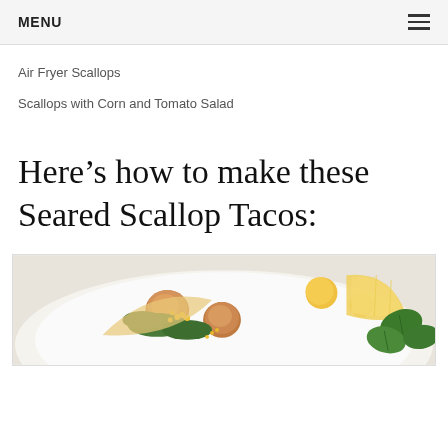MENU
Air Fryer Scallops
Scallops with Corn and Tomato Salad
Here’s how to make these Seared Scallop Tacos:
[Figure (photo): Overhead photo of seared scallop tacos on a white plate with corn, greens, yellow tomatoes, lemon wedges, and fresh basil leaves]